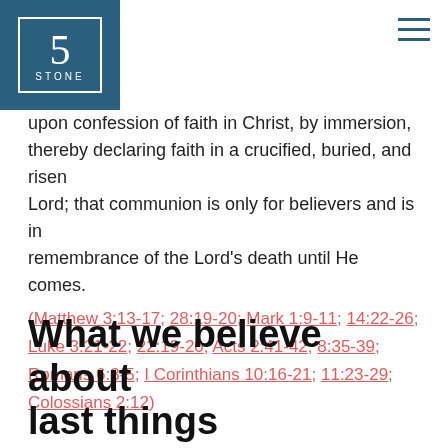[Figure (logo): 5Stone church logo — number 5 in a white-bordered box on dark teal background, with 'STONE' in small caps below]
upon confession of faith in Christ, by immersion, thereby declaring faith in a crucified, buried, and risen Lord; that communion is only for believers and is in remembrance of the Lord's death until He comes.
(Matthew 3:13-17; 28:19-20; Mark 1:9-11; 14:22-26; Luke 3:21-22; 22:19-20; Acts 2:41-42; 8:35-39; Romans 6:3-5; I Corinthians 10:16-21; 11:23-29; Colossians 2:12)
What we believe about last things